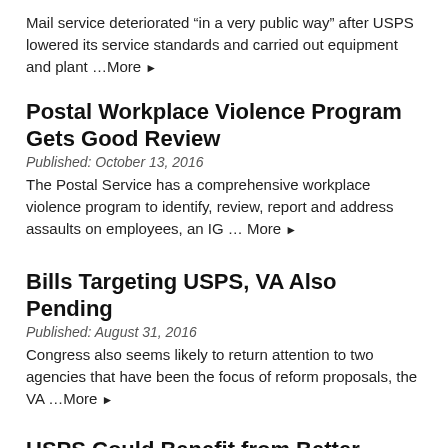Mail service deteriorated “in a very public way” after USPS lowered its service standards and carried out equipment and plant …More ►
Postal Workplace Violence Program Gets Good Review
Published: October 13, 2016
The Postal Service has a comprehensive workplace violence program to identify, review, report and address assaults on employees, an IG … More ►
Bills Targeting USPS, VA Also Pending
Published: August 31, 2016
Congress also seems likely to return attention to two agencies that have been the focus of reform proposals, the VA …More ►
USPS Could Benefit from Better Target Marketing, IG Suggests
Published: August 5, 2016